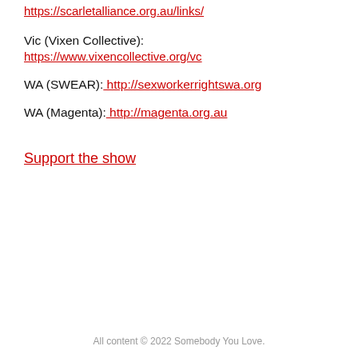https://scarletalliance.org.au/links/
Vic (Vixen Collective):
https://www.vixencollective.org/vc
WA (SWEAR): http://sexworkerrightswa.org
WA (Magenta): http://magenta.org.au
Support the show
All content © 2022 Somebody You Love.